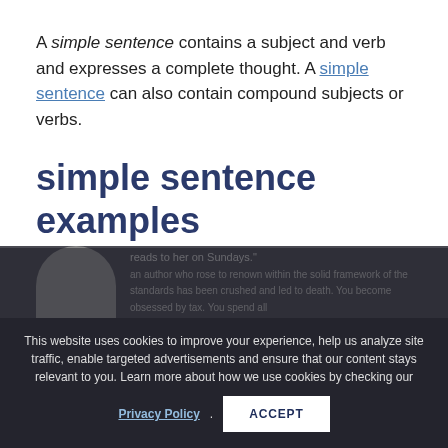A simple sentence contains a subject and verb and expresses a complete thought. A simple sentence can also contain compound subjects or verbs.
simple sentence examples
“The dog likes to chase squirrels.”
“Didi visits her grandmother and reads to her on Sundays.”
[Figure (photo): Partial view of a person's photo at bottom left of page, overlaid by dark cookie consent banner]
This website uses cookies to improve your experience, help us analyze site traffic, enable targeted advertisements and ensure that our content stays relevant to you. Learn more about how we use cookies by checking our Privacy Policy.